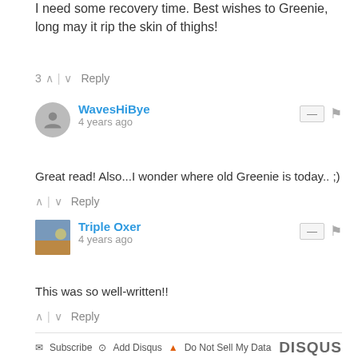I need some recovery time. Best wishes to Greenie, long may it rip the skin of thighs!
3 ^ | v Reply
WavesHiBye
4 years ago
Great read! Also...I wonder where old Greenie is today.. ;)
^ | v Reply
Triple Oxer
4 years ago
This was so well-written!!
^ | v Reply
Subscribe  Add Disqus  Do Not Sell My Data  DISQUS
MORE ...